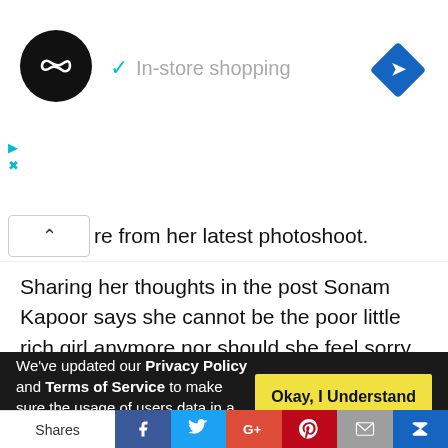[Figure (screenshot): Advertisement bar with circular logo (infinity symbol on black), checkmark and 'In-store shopping' text in grey, blue diamond navigation icon on right, play and close controls on left]
re from her latest photoshoot.
Sharing her thoughts in the post Sonam Kapoor says she cannot be the poor little rich girl anymore nor should she feel sorry for herself. Speaking more about empowerment, Sonam said she needs to make harder choices in order to pave the future way for women after her. That is the reason why her whole team consists of women and why she also voices the need to cut down thousands of years of deep
We've updated our Privacy Policy and Terms of Service to make sure the usage of users data in a more clearer way. Click "Okay, I
Okay, I Understand
Shares